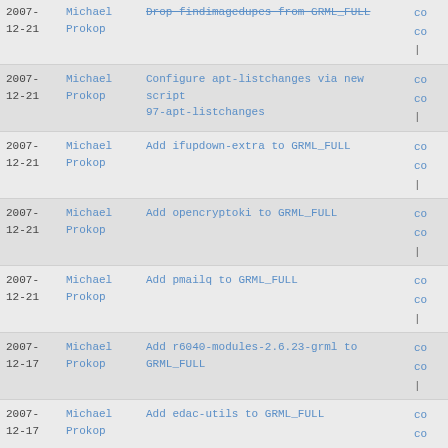2007-12-21 Michael Prokop Drop findimagedupes from GRML_FULL co co |
2007-12-21 Michael Prokop Configure apt-listchanges via new script 97-apt-listchanges co co |
2007-12-21 Michael Prokop Add ifupdown-extra to GRML_FULL co co |
2007-12-21 Michael Prokop Add opencryptoki to GRML_FULL co co |
2007-12-21 Michael Prokop Add pmailq to GRML_FULL co co |
2007-12-17 Michael Prokop Add r6040-modules-2.6.23-grml to GRML_FULL co co |
2007-12-17 Michael Prokop Add edac-utils to GRML_FULL co co |